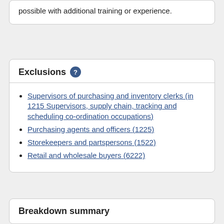possible with additional training or experience.
Exclusions
Supervisors of purchasing and inventory clerks (in 1215 Supervisors, supply chain, tracking and scheduling co-ordination occupations)
Purchasing agents and officers (1225)
Storekeepers and partspersons (1522)
Retail and wholesale buyers (6222)
Breakdown summary